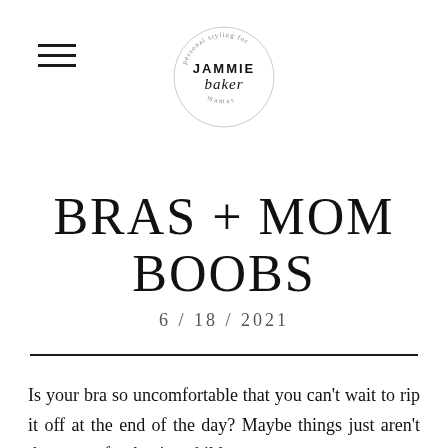[Figure (logo): Jammie Baker personal styling for mamas circular logo with script and serif text]
BRAS + MOM BOOBS
6/18/2021
Is your bra so uncomfortable that you can't wait to rip it off at the end of the day? Maybe things just aren't the same after having children